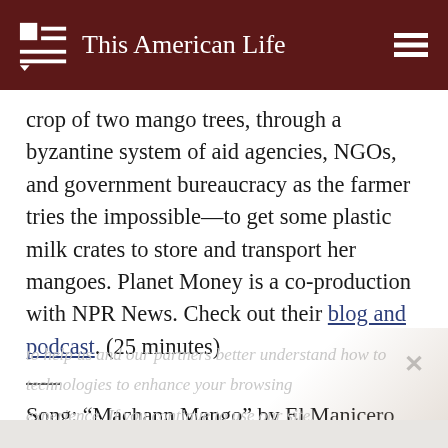This American Life
crop of two mango trees, through a byzantine system of aid agencies, NGOs, and government bureaucracy as the farmer tries the impossible—to get some plastic milk crates to store and transport her mangoes. Planet Money is a co-production with NPR News. Check out their blog and podcast. (25 minutes)
Song: “Machann Mango” by El Manicero